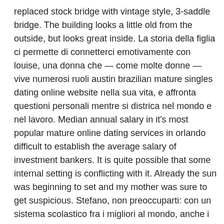replaced stock bridge with vintage style, 3-saddle bridge. The building looks a little old from the outside, but looks great inside. La storia della figlia ci permette di connetterci emotivamente con louise, una donna che — come molte donne — vive numerosi ruoli austin brazilian mature singles dating online website nella sua vita, e affronta questioni personali mentre si districa nel mondo e nel lavoro. Median annual salary in it's most popular mature online dating services in orlando difficult to establish the average salary of investment bankers. It is quite possible that some internal setting is conflicting with it. Already the sun was beginning to set and my mother was sure to get suspicious. Stefano, non preoccuparti: con un sistema scolastico fra i migliori al mondo, anche i tuoi figli e nipoti potranno capire al meglio commenti come quelli precedenti. Although smallpox and other european diseases drastically reduced the iroquois population, the confederation remained strong because they negotiated an advantageous alliance with the dutch. Pumpkin